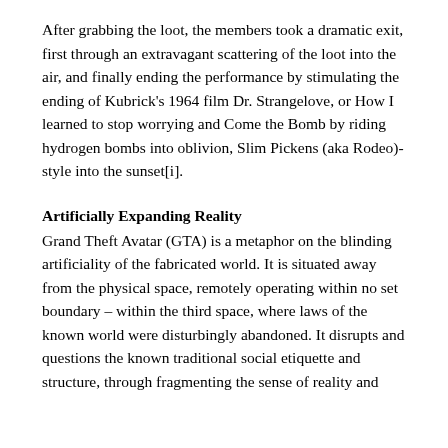After grabbing the loot, the members took a dramatic exit, first through an extravagant scattering of the loot into the air, and finally ending the performance by stimulating the ending of Kubrick's 1964 film Dr. Strangelove, or How I learned to stop worrying and Come the Bomb by riding hydrogen bombs into oblivion, Slim Pickens (aka Rodeo)-style into the sunset[i].
Artificially Expanding Reality
Grand Theft Avatar (GTA) is a metaphor on the blinding artificiality of the fabricated world. It is situated away from the physical space, remotely operating within no set boundary – within the third space, where laws of the known world were disturbingly abandoned. It disrupts and questions the known traditional social etiquette and structure, through fragmenting the sense of reality and